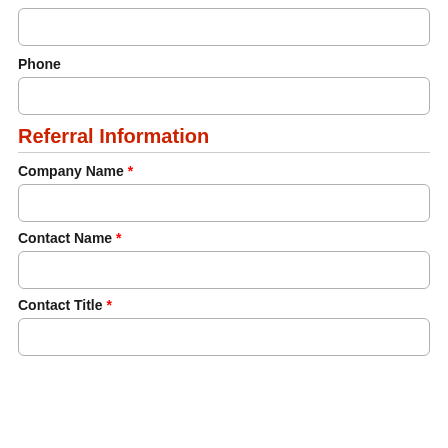(empty input field at top)
Phone
(phone input field)
Referral Information
Company Name *
(company name input field)
Contact Name *
(contact name input field)
Contact Title *
(contact title input field, partial)